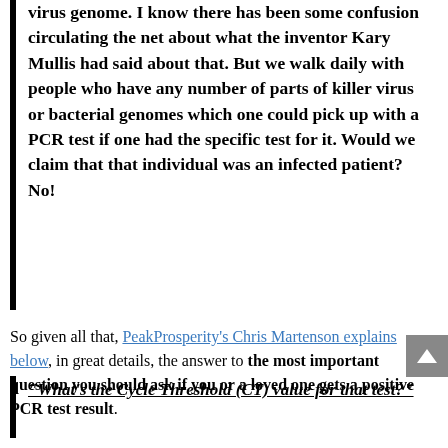virus genome. I know there has been some confusion circulating the net about what the inventor Kary Mullis had said about that. But we walk daily with people who have any number of parts of killer virus or bacterial genomes which one could pick up with a PCR test if one had the specific test for it. Would we claim that that individual was an infected patient? No!
So given all that, PeakProsperity's Chris Martenson explains below, in great details, the answer to the most important question you should ask if you or a loved one gets a positive PCR test result.
"What's the Cycle Threshold (CT) value for that test?"